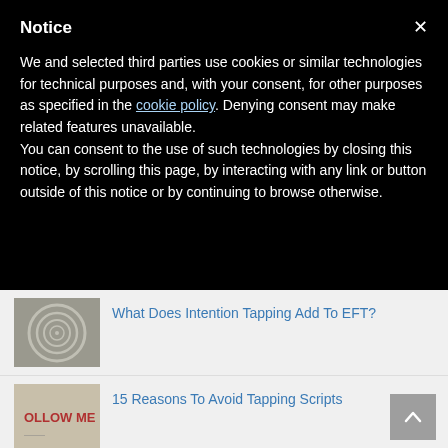Notice
We and selected third parties use cookies or similar technologies for technical purposes and, with your consent, for other purposes as specified in the cookie policy. Denying consent may make related features unavailable.
You can consent to the use of such technologies by closing this notice, by scrolling this page, by interacting with any link or button outside of this notice or by continuing to browse otherwise.
What Does Intention Tapping Add To EFT?
[Figure (photo): Spiral labyrinth clay tile image]
15 Reasons To Avoid Tapping Scripts
[Figure (photo): Sign reading OLLOW ME]
How To Find Your Limiting Beliefs With Just